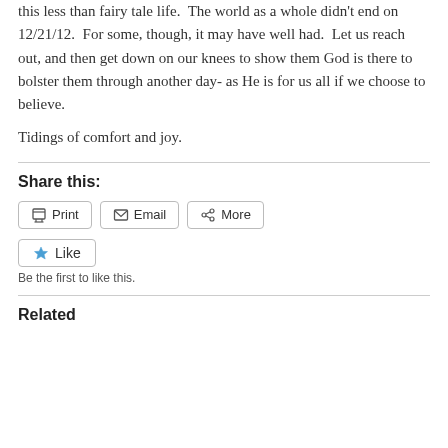this less than fairy tale life.  The world as a whole didn't end on 12/21/12.  For some, though, it may have well had.  Let us reach out, and then get down on our knees to show them God is there to bolster them through another day- as He is for us all if we choose to believe.
Tidings of comfort and joy.
Share this:
Print  Email  More
Like
Be the first to like this.
Related